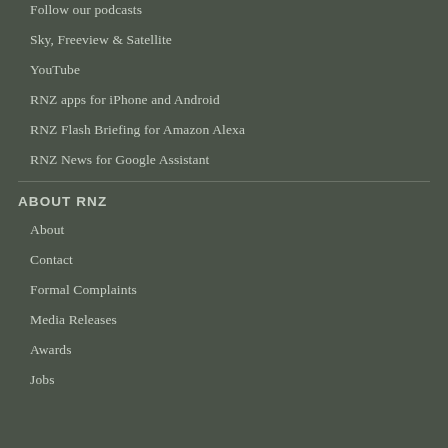Follow our podcasts
Sky, Freeview & Satellite
YouTube
RNZ apps for iPhone and Android
RNZ Flash Briefing for Amazon Alexa
RNZ News for Google Assistant
ABOUT RNZ
About
Contact
Formal Complaints
Media Releases
Awards
Jobs